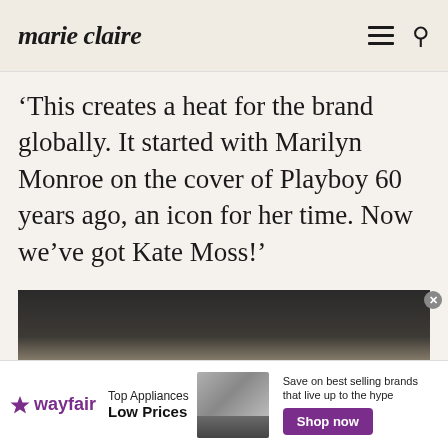marie claire
‘This creates a heat for the brand globally. It started with Marilyn Monroe on the cover of Playboy 60 years ago, an icon for her time. Now we’ve got Kate Moss!’
[Figure (photo): Close-up photo of a blonde woman, cropped to show the top portion of her face and blonde hair against a dark background.]
[Figure (infographic): Wayfair advertisement banner showing: Wayfair logo, 'Top Appliances Low Prices' text, image of a range/stove appliance, and 'Save on best selling brands that live up to the hype' with a purple 'Shop now' button.]